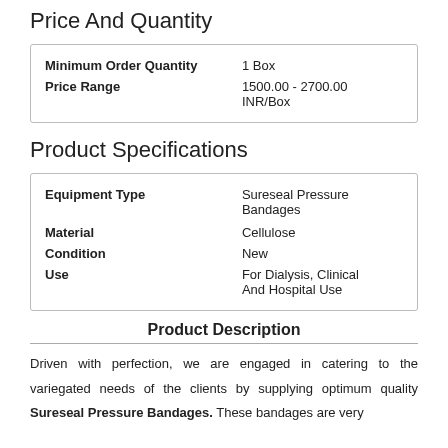Price And Quantity
| Minimum Order Quantity | 1 Box |
| Price Range | 1500.00 - 2700.00
INR/Box |
Product Specifications
| Equipment Type | Sureseal Pressure Bandages |
| Material | Cellulose |
| Condition | New |
| Use | For Dialysis, Clinical And Hospital Use |
Product Description
Driven with perfection, we are engaged in catering to the variegated needs of the clients by supplying optimum quality Sureseal Pressure Bandages. These bandages are very